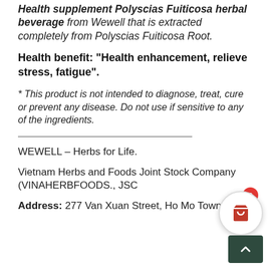Health supplement Polyscias Fuiticosa herbal beverage from Wewell that is extracted completely from Polyscias Fuiticosa Root.
Health benefit: “Health enhancement, relieve stress, fatigue”.
* This product is not intended to diagnose, treat, cure or prevent any disease. Do not use if sensitive to any of the ingredients.
WEWELL – Herbs for Life.
Vietnam Herbs and Foods Joint Stock Company (VINAHERBFOODS., JSC
Address: 277 Van Xuan Street, Ho Mo Town